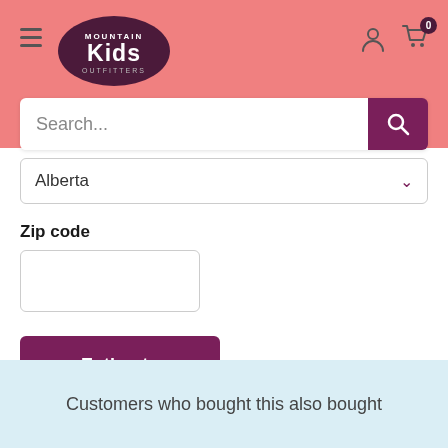[Figure (logo): Mountain Kids Outfitters logo in dark purple oval, white text]
Search...
Alberta
Zip code
Estimate
Customers who bought this also bought